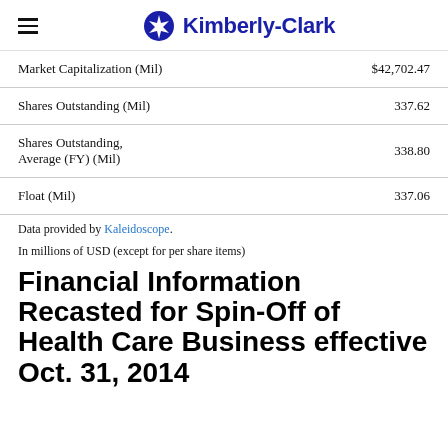Kimberly-Clark
|  |  |
| --- | --- |
| Market Capitalization (Mil) | $42,702.47 |
| Shares Outstanding (Mil) | 337.62 |
| Shares Outstanding, Average (FY) (Mil) | 338.80 |
| Float (Mil) | 337.06 |
Data provided by Kaleidoscope.
In millions of USD (except for per share items)
Financial Information Recasted for Spin-Off of Health Care Business effective Oct. 31, 2014